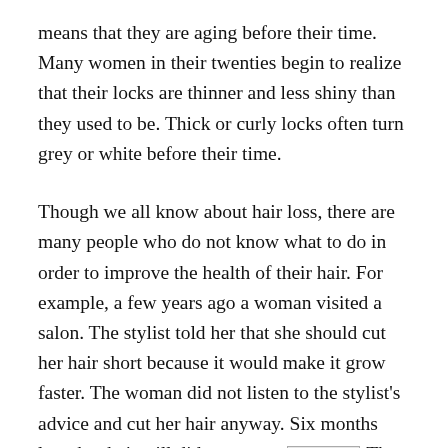means that they are aging before their time. Many women in their twenties begin to realize that their locks are thinner and less shiny than they used to be. Thick or curly locks often turn grey or white before their time.
Though we all know about hair loss, there are many people who do not know what to do in order to improve the health of their hair. For example, a few years ago a woman visited a salon. The stylist told her that she should cut her hair short because it would make it grow faster. The woman did not listen to the stylist's advice and cut her hair anyway. Six months later her hair still did not grow. [XXXXX] The woman was perplexed, thinking that her hair had stopped growing. She called the stylist back a few days later. He explained to her that she had simply neglected her